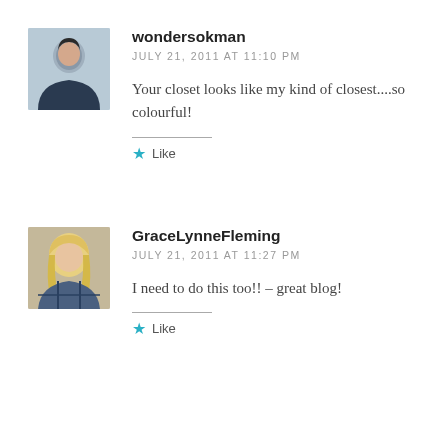[Figure (photo): Avatar photo of wondersokman: a person with short dark hair]
wondersokman
JULY 21, 2011 AT 11:10 PM
Your closet looks like my kind of closest....so colourful!
Like
[Figure (photo): Avatar photo of GraceLynneFleming: a woman with blonde hair]
GraceLynneFleming
JULY 21, 2011 AT 11:27 PM
I need to do this too!! – great blog!
Like